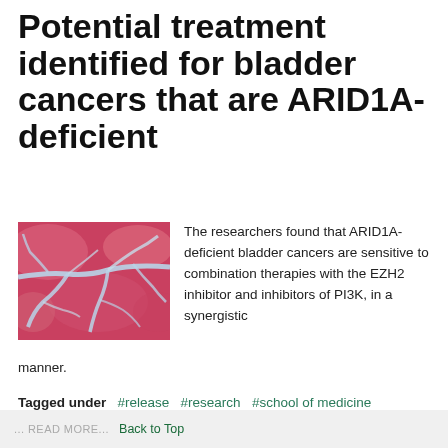Potential treatment identified for bladder cancers that are ARID1A-deficient
[Figure (photo): Microscopy image of bladder tissue showing pink/red stained cells with light blue branching vascular or structural patterns, illustrating ARID1A-deficient bladder cancer tissue sample.]
The researchers found that ARID1A-deficient bladder cancers are sensitive to combination therapies with the EZH2 inhibitor and inhibitors of PI3K, in a synergistic manner.
Tagged under  #release  #research  #school of medicine  #department of urology  #department of pathology  #oneal comprehensive cancer center
... READ MORE...  Back to Top